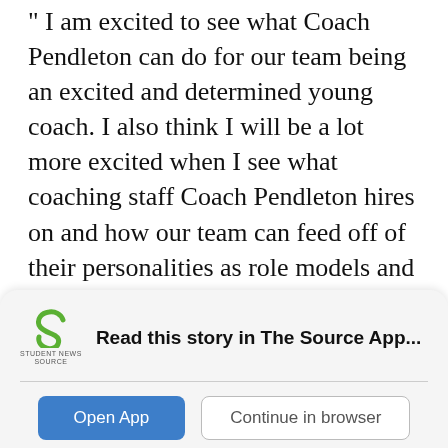“ I am excited to see what Coach Pendleton can do for our team being an excited and determined young coach. I also think I will be a lot more excited when I see what coaching staff Coach Pendleton hires on and how our team can feed off of their personalities as role models and coaches,” Kaylor said via email.
Bartholomae said going forward, OSU Athletics’ goal for OSU Wrestling is to set a high academic standard, to ensure that student-athletes are positive members of the community and to become a top-10 program that develops multiple All-Americans each
[Figure (logo): Student News Source logo with green S icon and text below]
Read this story in The Source App...
Open App
Continue in browser